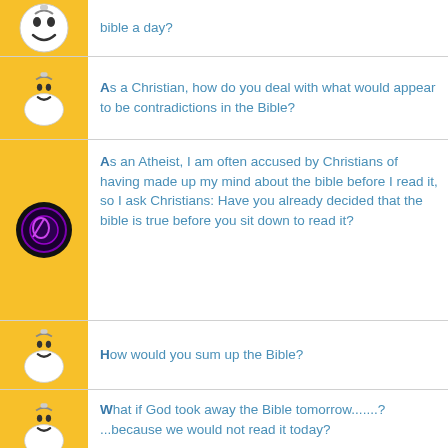bible a day?
As a Christian, how do you deal with what would appear to be contradictions in the Bible?
As an Atheist, I am often accused by Christians of having made up my mind about the bible before I read it, so I ask Christians: Have you already decided that the bible is true before you sit down to read it?
How would you sum up the Bible?
What if God took away the Bible tomorrow.......? ...because we would not read it today?
ABOUT ANSWERBAG